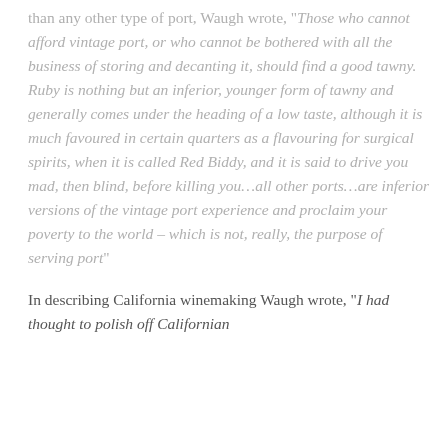than any other type of port, Waugh wrote, "Those who cannot afford vintage port, or who cannot be bothered with all the business of storing and decanting it, should find a good tawny. Ruby is nothing but an inferior, younger form of tawny and generally comes under the heading of a low taste, although it is much favoured in certain quarters as a flavouring for surgical spirits, when it is called Red Biddy, and it is said to drive you mad, then blind, before killing you…all other ports…are inferior versions of the vintage port experience and proclaim your poverty to the world – which is not, really, the purpose of serving port"
In describing California winemaking Waugh wrote, "I had thought to polish off Californian...